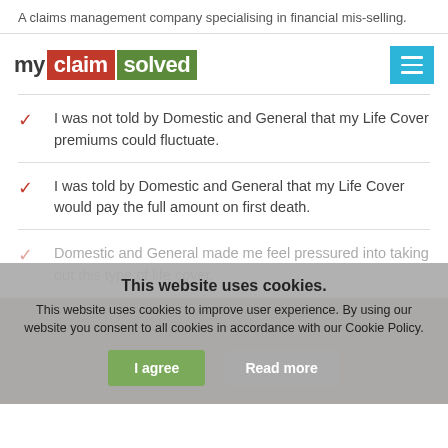A claims management company specialising in financial mis-selling.
[Figure (logo): my claim solved logo with red background on 'claim' and green background on 'solved']
I was not told by Domestic and General that my Life Cover premiums could fluctuate.
I was told by Domestic and General that my Life Cover would pay the full amount on first death.
Domestic and General made me feel pressured into taking out this type of life cover.
This website uses cookies.
This website uses cookies to improve user experience. By using our website you consent to all cookies in accordance with our Cookie Policy.